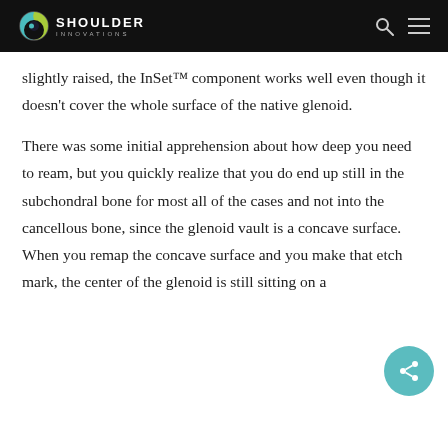Shoulder Innovations
slightly raised, the InSet™ component works well even though it doesn't cover the whole surface of the native glenoid.
There was some initial apprehension about how deep you need to ream, but you quickly realize that you do end up still in the subchondral bone for most all of the cases and not into the cancellous bone, since the glenoid vault is a concave surface. When you remap the concave surface and you make that etch mark, the center of the glenoid is still sitting on a